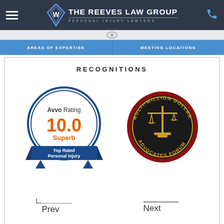THE REEVES LAW GROUP — PERSONAL INJURY LAWYERS
AREAS OF EXPERTISE | MEETING LOCATIONS
RECOGNITIONS
[Figure (logo): Avvo Rating 10.0 Superb — Top Rated Personal Injury badge, circular blue and white design]
[Figure (logo): Multi-Million Dollar Advocates Forum circular seal with scales of justice, dark red and gold]
Prev
Next